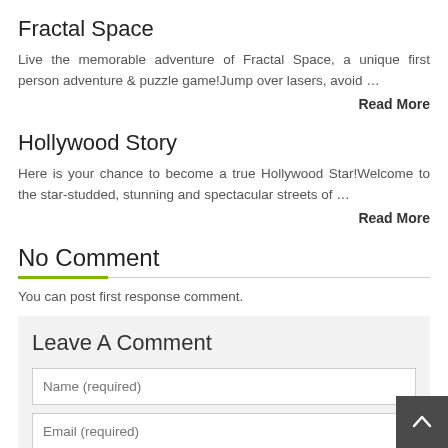Fractal Space
Live the memorable adventure of Fractal Space, a unique first person adventure & puzzle game!Jump over lasers, avoid …
Read More
Hollywood Story
Here is your chance to become a true Hollywood Star!Welcome to the star-studded, stunning and spectacular streets of …
Read More
No Comment
You can post first response comment.
Leave A Comment
Name (required)
Email (required)